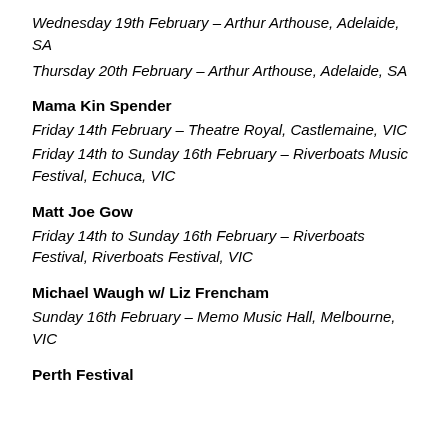Wednesday 19th February – Arthur Arthouse, Adelaide, SA
Thursday 20th February – Arthur Arthouse, Adelaide, SA
Mama Kin Spender
Friday 14th February – Theatre Royal, Castlemaine, VIC
Friday 14th to Sunday 16th February – Riverboats Music Festival, Echuca, VIC
Matt Joe Gow
Friday 14th to Sunday 16th February – Riverboats Festival, Riverboats Festival, VIC
Michael Waugh w/ Liz Frencham
Sunday 16th February – Memo Music Hall, Melbourne, VIC
Perth Festival